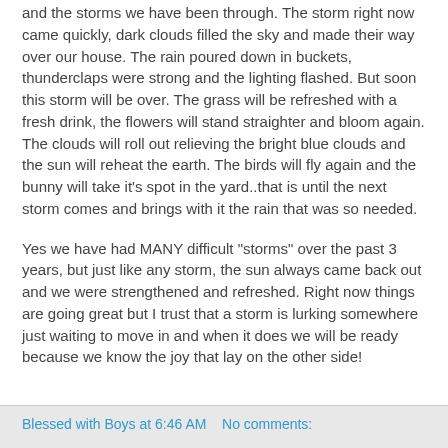and the storms we have been through. The storm right now came quickly, dark clouds filled the sky and made their way over our house. The rain poured down in buckets, thunderclaps were strong and the lighting flashed. But soon this storm will be over. The grass will be refreshed with a fresh drink, the flowers will stand straighter and bloom again. The clouds will roll out relieving the bright blue clouds and the sun will reheat the earth. The birds will fly again and the bunny will take it's spot in the yard..that is until the next storm comes and brings with it the rain that was so needed.
Yes we have had MANY difficult "storms" over the past 3 years, but just like any storm, the sun always came back out and we were strengthened and refreshed. Right now things are going great but I trust that a storm is lurking somewhere just waiting to move in and when it does we will be ready because we know the joy that lay on the other side!
Blessed with Boys at 6:46 AM    No comments: